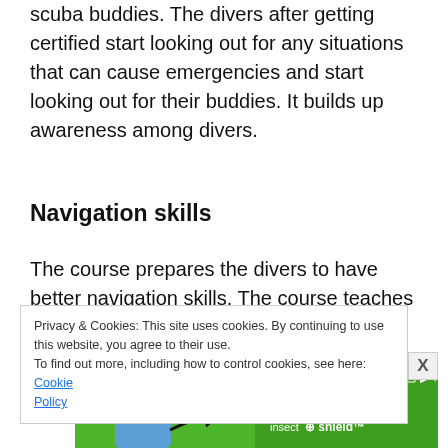scuba buddies. The divers after getting certified start looking out for any situations that can cause emergencies and start looking out for their buddies. It builds up awareness among divers.
Navigation skills
The course prepares the divers to have better navigation skills. The course teaches the divers with search patterns and how to navigate
Privacy & Cookies: This site uses cookies. By continuing to use this website, you agree to their use.
To find out more, including how to control cookies, see here: Cookie Policy
[Figure (photo): Advertisement banner for Insect Shield brand showing a woman in blue top with text 'Clothes That Repel Bugs' and insect shield logo on a green background]